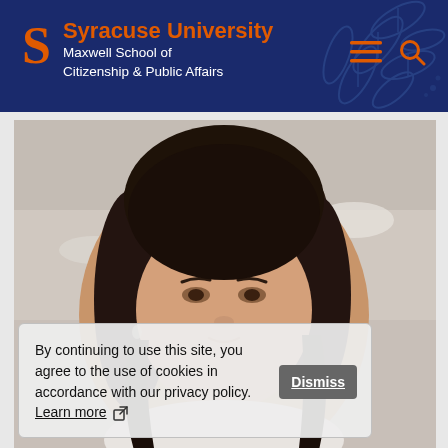Syracuse University Maxwell School of Citizenship & Public Affairs
[Figure (photo): Professional headshot of a woman with dark hair, close-up portrait, blurred indoor background]
By continuing to use this site, you agree to the use of cookies in accordance with our privacy policy. Learn more